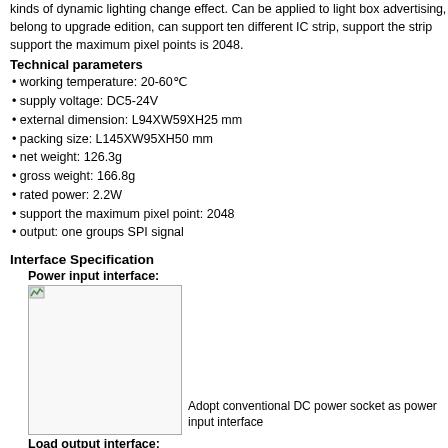kinds of dynamic lighting change effect. Can be applied to light box advertising, belong to upgrade edition, can support ten different IC strip, support the strip support the maximum pixel points is 2048.
Technical parameters
working temperature: 20-60°C
supply voltage: DC5-24V
external dimension: L94XW59XH25 mm
packing size: L145XW95XH50 mm
net weight: 126.3g
gross weight: 166.8g
rated power: 2.2W
support the maximum pixel point: 2048
output: one groups SPI signal
Interface Specification
Power input interface:
[Figure (photo): Power input interface image placeholder]
Adopt conventional DC power socket as power input interface
Load output interface:
[Figure (photo): Load output interface image placeholder]